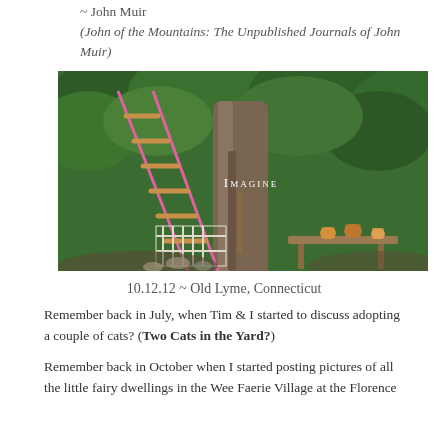~ John Muir
(John of the Mountains: The Unpublished Journals of John Muir)
[Figure (photo): A fairy garden scene with a pink rope ladder leaning against a tree trunk, a white picket fence, a sign reading 'IMAGINE', small amber jars on a wooden bench, and lush green foliage in the background.]
10.12.12 ~ Old Lyme, Connecticut
Remember back in July, when Tim & I started to discuss adopting a couple of cats? (Two Cats in the Yard?)
Remember back in October when I started posting pictures of all the little fairy dwellings in the Wee Faerie Village at the Florence